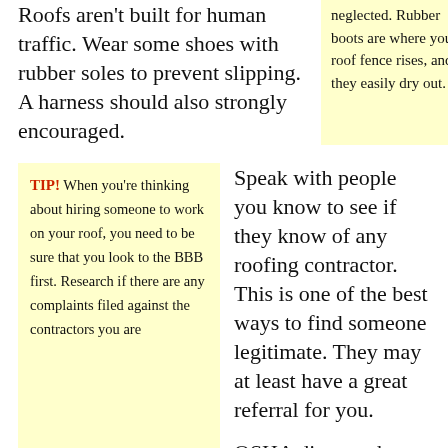Roofs aren't built for human traffic. Wear some shoes with rubber soles to prevent slipping. A harness should also strongly encouraged.
neglected. Rubber boots are where your roof fence rises, and they easily dry out.
TIP! When you're thinking about hiring someone to work on your roof, you need to be sure that you look to the BBB first. Research if there are any complaints filed against the contractors you are
Speak with people you know to see if they know of any roofing contractor. This is one of the best ways to find someone legitimate. They may at least have a great referral for you.
OSHA dictates that roofing contractors have a safety plans. This plan is important